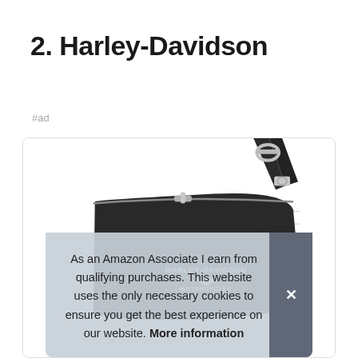2. Harley-Davidson
#ad
[Figure (photo): Harley-Davidson Motorcycles branded black crossbody/wristlet bag with zipper and metal clasp strap attachment, photographed on white background]
As an Amazon Associate I earn from qualifying purchases. This website uses the only necessary cookies to ensure you get the best experience on our website. More information